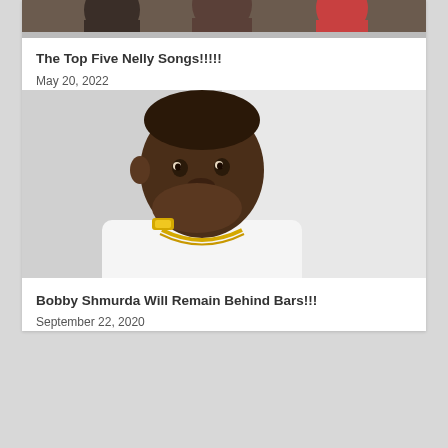[Figure (photo): Partial photo of people, cropped at top of the card]
The Top Five Nelly Songs!!!!!
May 20, 2022
[Figure (photo): Photo of Bobby Shmurda, a young Black man with hand raised to mouth, wearing gold chain and watch, white shirt, against white background]
Bobby Shmurda Will Remain Behind Bars!!!
September 22, 2020